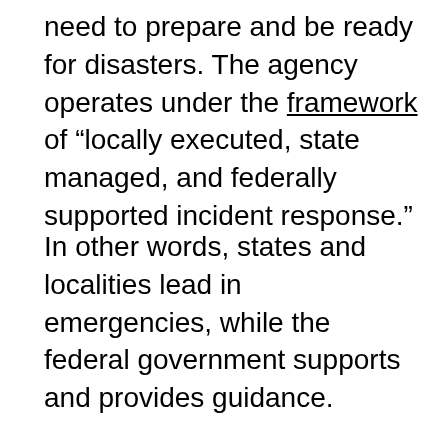need to prepare and be ready for disasters. The agency operates under the framework of “locally executed, state managed, and federally supported incident response.”
In other words, states and localities lead in emergencies, while the federal government supports and provides guidance.